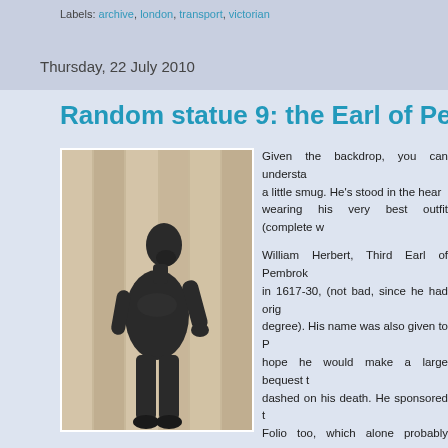Labels: archive, london, transport, victorian
Thursday, 22 July 2010
Random statue 9: the Earl of Pem
[Figure (photo): Bronze statue of William Herbert, Third Earl of Pembroke, in armour, standing in front of stone columns.]
Given the backdrop, you can understand a little smug. He's stood in the heart wearing his very best outfit (complete w
William Herbert, Third Earl of Pembroke in 1617-30, (not bad, since he had orig degree). His name was also given to P hope he would make a large bequest t dashed on his death. He sponsored t Folio too, which alone probably earns Not that he was necessarily a very ni pregnant, he refused to marry her and Prison as a result. He only returned succeeded by King James.